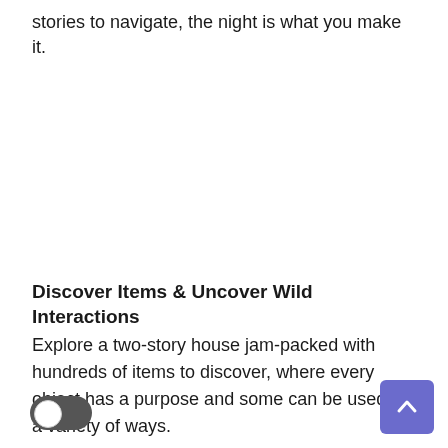stories to navigate, the night is what you make it.
Discover Items & Uncover Wild Interactions
Explore a two-story house jam-packed with hundreds of items to discover, where every object has a purpose and some can be used in a variety of ways.